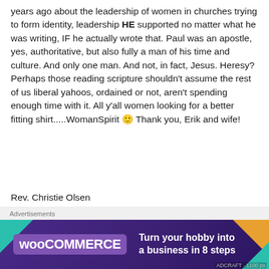years ago about the leadership of women in churches trying to form identity, leadership HE supported no matter what he was writing, IF he actually wrote that. Paul was an apostle, yes, authoritative, but also fully a man of his time and culture. And only one man. And not, in fact, Jesus. Heresy? Perhaps those reading scripture shouldn't assume the rest of us liberal yahoos, ordained or not, aren't spending enough time with it. All y'all women looking for a better fitting shirt.....WomanSpirit 🙂 Thank you, Erik and wife!
Rev. Christie Olsen
★ Like
↩ REPLY
[Figure (other): WooCommerce advertisement banner: purple background with teal and orange geometric corner accents. WooCommerce logo on left, text 'Turn your hobby into a business in 8 steps' on right.]